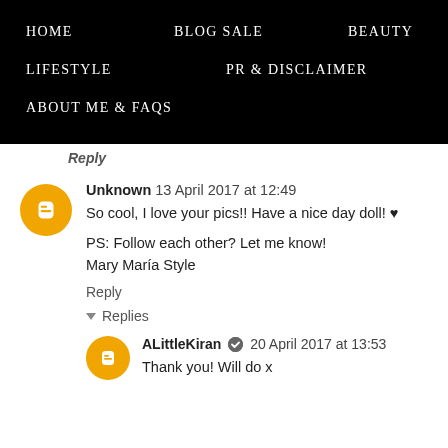HOME   BLOG SALE   BEAUTY   LIFESTYLE   PR & DISCLAIMER   ABOUT ME & FAQs
Reply
Unknown 13 April 2017 at 12:49
So cool, I love your pics!! Have a nice day doll! ♥

PS: Follow each other? Let me know!
Mary María Style

Reply
▾ Replies
ALittleKiran ✔ 20 April 2017 at 13:53
Thank you! Will do x